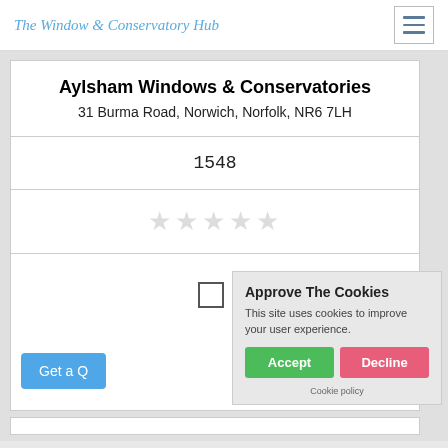The Window & Conservatory Hub
Aylsham Windows & Conservatories
31 Burma Road, Norwich, Norfolk, NR6 7LH
1548
[Figure (other): Five empty star rating icons in light grey]
Get a Quote
Approve The Cookies
This site uses cookies to improve your user experience.
Accept | Decline
Cookie policy